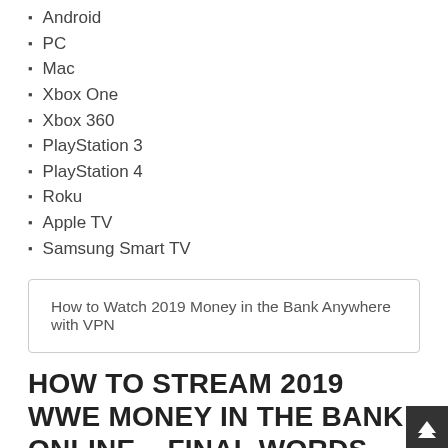Android
PC
Mac
Xbox One
Xbox 360
PlayStation 3
PlayStation 4
Roku
Apple TV
Samsung Smart TV
How to Watch 2019 Money in the Bank Anywhere with VPN
HOW TO STREAM 2019 WWE MONEY IN THE BANK ONLINE – FINAL WORDS
The 2019 Money in the Bank will give its winners the chance at a world championship at any time. This makes it a highly anticipated event as it helps shape the future of WWE. Therefore, wrestling